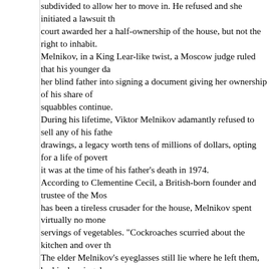subdivided to allow her to move in. He refused and she initiated a lawsuit that the court awarded her a half-ownership of the house, but not the right to inhabit. Melnikov, in a King Lear-like twist, a Moscow judge ruled that his younger da her blind father into signing a document giving her ownership of his share of squabbles continue. During his lifetime, Viktor Melnikov adamantly refused to sell any of his fathe drawings, a legacy worth tens of millions of dollars, opting for a life of povert it was at the time of his father's death in 1974. According to Clementine Cecil, a British-born founder and trustee of the Mos has been a tireless crusader for the house, Melnikov spent virtually no mone servings of vegetables. "Cockroaches scurried about the kitchen and over th The elder Melnikov's eyeglasses still lie where he left them, by his drawing d this visitor up a curved stairway late one night to her father's huge, airy paint building's unique structure. The three-story, plaster-sheathed house is composed of two interlocking cyli honeycombed with rhomboid-shaped windows that cast shifting patterns of li meter-tall, or 17-foot-tall, expanse of glass is topped with a sign proclaiming Melnikov, Architect. (It was a bold calling card during a Soviet regime that pri completed, Stalin denounced Melnikov, who was never permitted to build ag Recently, the house has begun to show signs of serious physical neglect. "T collapsed," said David Sarkisyan, director of the Shchusev Museum of Archi to preserve it for the past six years. In the room where Viktor Melnikov slept, Sarkisyan pointed to a chunk of pla revealing the building's waffle-like construction. The frame of the main windo of the glass, and could easily collapse, "which would be disastrous." Despite the house's historical significance, the city has permitted the constru with underground parking garages, which has affected the stability of the site professor at the Moscow Institute of Architecture. Observers at the World Monuments Fund, which placed the building on its 2 sites, have noted with concern that the 800-square-meter, or 8,600-square-f at more than $40 million, making it a tempting target for developers. (Since 1 buildings have been destroyed under the watch of Mayor Yuri Luzhkov, who